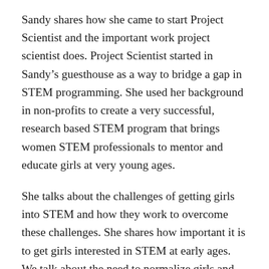Sandy shares how she came to start Project Scientist and the important work project scientist does. Project Scientist started in Sandy’s guesthouse as a way to bridge a gap in STEM programming. She used her background in non-profits to create a very successful, research based STEM program that brings women STEM professionals to mentor and educate girls at very young ages.
She talks about the challenges of getting girls into STEM and how they work to overcome these challenges. She shares how important it is to get girls interested in STEM at early ages. We talk about the need to normalize girls and women in STEM careers so that girls think about STEM careers as a part of their normal life and as potential careers for them.
She also shares her journey through the non-profit world, both in previous roles and starting Project Scientist. She provides